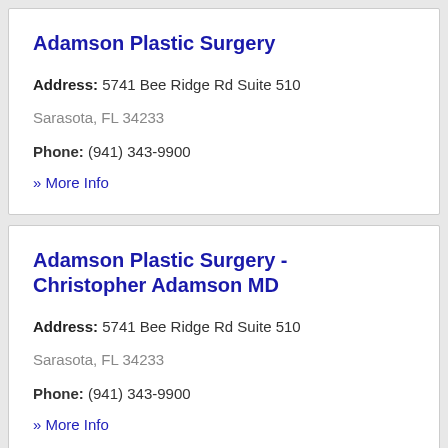Adamson Plastic Surgery
Address: 5741 Bee Ridge Rd Suite 510 Sarasota, FL 34233
Phone: (941) 343-9900
» More Info
Adamson Plastic Surgery - Christopher Adamson MD
Address: 5741 Bee Ridge Rd Suite 510 Sarasota, FL 34233
Phone: (941) 343-9900
» More Info